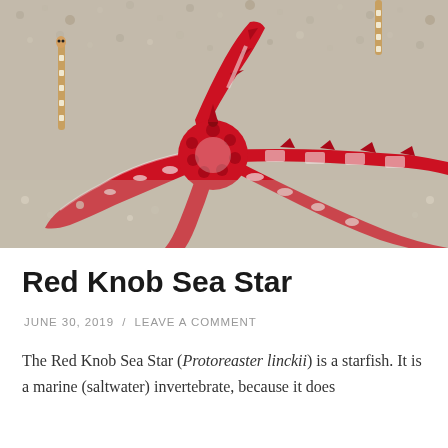[Figure (photo): Close-up photograph of a Red Knob Sea Star (Protoreaster linckii) on a sandy ocean floor. The starfish has vivid red and white patterned arms with spiny knobs, resting on light grey/white grainy sand. Small striped marine worms or similar creatures visible in the background.]
Red Knob Sea Star
JUNE 30, 2019 / LEAVE A COMMENT
The Red Knob Sea Star (Protoreaster linckii) is a starfish. It is a marine (saltwater) invertebrate, because it does not have a backbone. It is found in the Indian Ocean.